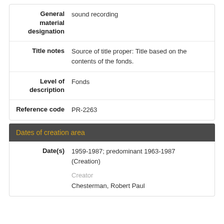| Field | Value |
| --- | --- |
| General material designation | sound recording |
| Title notes | Source of title proper: Title based on the contents of the fonds. |
| Level of description | Fonds |
| Reference code | PR-2263 |
Dates of creation area
| Field | Value |
| --- | --- |
| Date(s) | 1959-1987; predominant 1963-1987 (Creation)
Creator
Chesterman, Robert Paul |